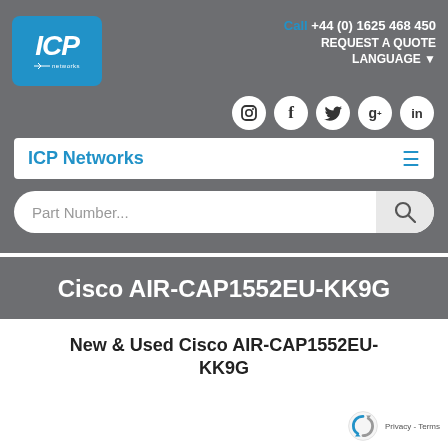[Figure (logo): ICP Networks logo — blue rounded-rectangle with white ICP italic text and 'networks' below]
Call +44 (0) 1625 468 450
REQUEST A QUOTE
LANGUAGE ▼
[Figure (other): Social media icons: Instagram, Facebook, Twitter, Google+, LinkedIn — white circles on grey background]
ICP Networks
Part Number...
Cisco AIR-CAP1552EU-KK9G
New & Used Cisco AIR-CAP1552EU-KK9G